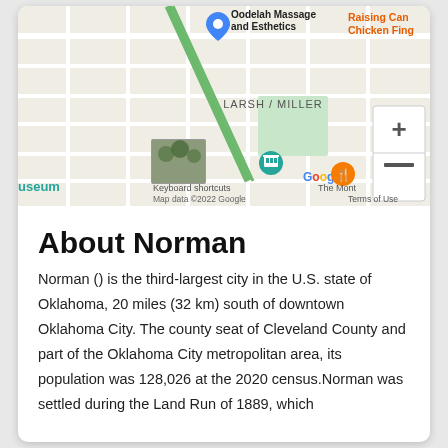[Figure (map): Google Maps screenshot showing downtown Norman area. Shows street grid with labels including LARSH / MILLER. Markers for Oodelah Massage and Esthetics (top left), Raising Cane's Chicken Fingers (top right, orange text), a museum thumbnail image (bottom left), and The Mont restaurant marker. Google branding at bottom with 'Keyboard shortcuts', 'Map data ©2022 Google', 'Terms of Use'. Zoom controls (+/-) on upper right.]
About Norman
Norman () is the third-largest city in the U.S. state of Oklahoma, 20 miles (32 km) south of downtown Oklahoma City. The county seat of Cleveland County and part of the Oklahoma City metropolitan area, its population was 128,026 at the 2020 census.Norman was settled during the Land Run of 1889, which